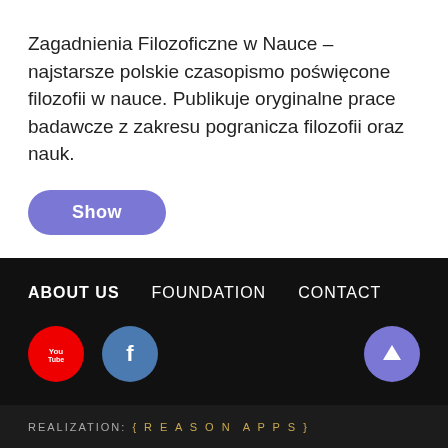Zagadnienia Filozoficzne w Nauce – najstarsze polskie czasopismo poświęcone filozofii w nauce. Publikuje oryginalne prace badawcze z zakresu pogranicza filozofii oraz nauk.
[Figure (other): Purple rounded button labeled 'Show']
ABOUT US   FOUNDATION   CONTACT
[Figure (other): YouTube red circle icon, Facebook blue circle icon, and purple up-arrow circle button]
REALIZATION: { REASON APPS }